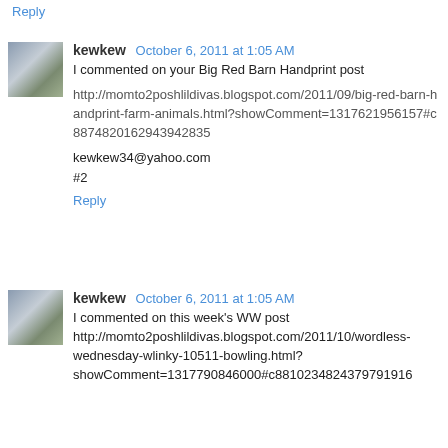Reply
kewkew  October 6, 2011 at 1:05 AM
I commented on your Big Red Barn Handprint post

http://momto2poshlildivas.blogspot.com/2011/09/big-red-barn-handprint-farm-animals.html?showComment=1317621956157#c8874820162943942835

kewkew34@yahoo.com
#2

Reply
kewkew  October 6, 2011 at 1:05 AM
I commented on this week's WW post http://momto2poshlildivas.blogspot.com/2011/10/wordless-wednesday-wlinky-10511-bowling.html?showComment=1317790846000#c8810234824379791916